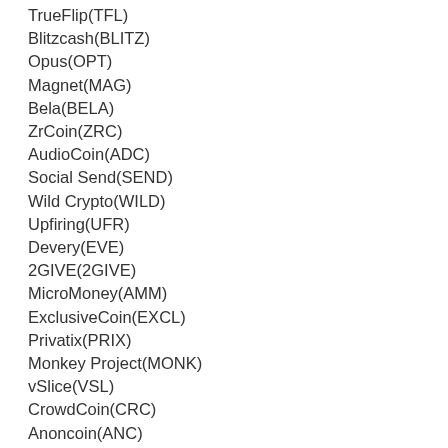TrueFlip(TFL)
Blitzcash(BLITZ)
Opus(OPT)
Magnet(MAG)
Bela(BELA)
ZrCoin(ZRC)
AudioCoin(ADC)
Social Send(SEND)
Wild Crypto(WILD)
Upfiring(UFR)
Devery(EVE)
2GIVE(2GIVE)
MicroMoney(AMM)
ExclusiveCoin(EXCL)
Privatix(PRIX)
Monkey Project(MONK)
vSlice(VSL)
CrowdCoin(CRC)
Anoncoin(ANC)